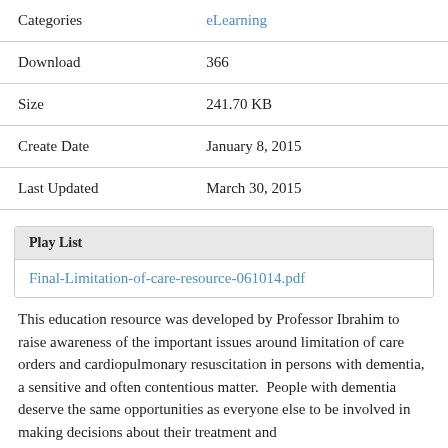| Categories | eLearning |
| Download | 366 |
| Size | 241.70 KB |
| Create Date | January 8, 2015 |
| Last Updated | March 30, 2015 |
Play List
Final-Limitation-of-care-resource-061014.pdf
This education resource was developed by Professor Ibrahim to raise awareness of the important issues around limitation of care orders and cardiopulmonary resuscitation in persons with dementia, a sensitive and often contentious matter.  People with dementia deserve the same opportunities as everyone else to be involved in making decisions about their treatment and